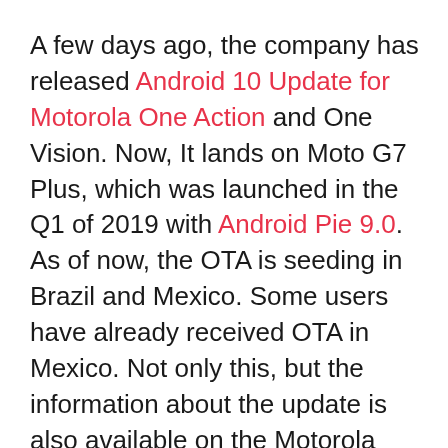A few days ago, the company has released Android 10 Update for Motorola One Action and One Vision. Now, It lands on Moto G7 Plus, which was launched in the Q1 of 2019 with Android Pie 9.0. As of now, the OTA is seeding in Brazil and Mexico. Some users have already received OTA in Mexico. Not only this, but the information about the update is also available on the Motorola support page, which shows that the OTA update has started rolling from January 20, 2020, and will be expected to finish by February 20, 2020.